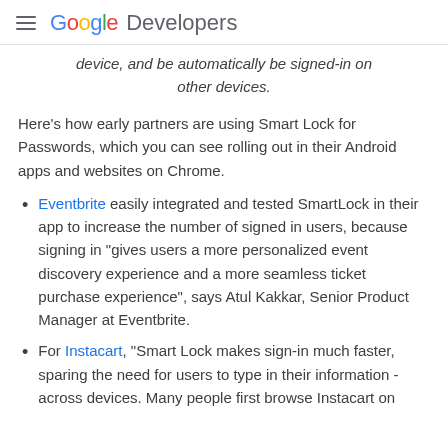Google Developers
device, and be automatically be signed-in on other devices.
Here's how early partners are using Smart Lock for Passwords, which you can see rolling out in their Android apps and websites on Chrome.
Eventbrite easily integrated and tested SmartLock in their app to increase the number of signed in users, because signing in "gives users a more personalized event discovery experience and a more seamless ticket purchase experience", says Atul Kakkar, Senior Product Manager at Eventbrite.
For Instacart, "Smart Lock makes sign-in much faster, sparing the need for users to type in their information - across devices. Many people first browse Instacart on